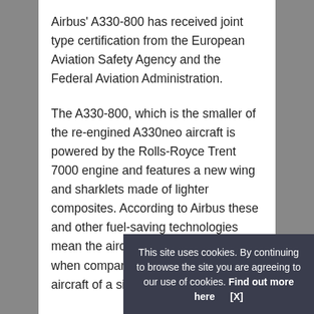Airbus' A330-800 has received joint type certification from the European Aviation Safety Agency and the Federal Aviation Administration.
The A330-800, which is the smaller of the re-engined A330neo aircraft is powered by the Rolls-Royce Trent 7000 engine and features a new wing and sharklets made of lighter composites. According to Airbus these and other fuel-saving technologies mean the aircraft uses 25% less fuel when compared with older generation aircraft of a similar size.
Entry into service of the A330-800 is expected later this year, although Airbus is yet to release information on a specific entry into service date.
This site uses cookies. By continuing to browse the site you are agreeing to our use of cookies. Find out more here   [X]